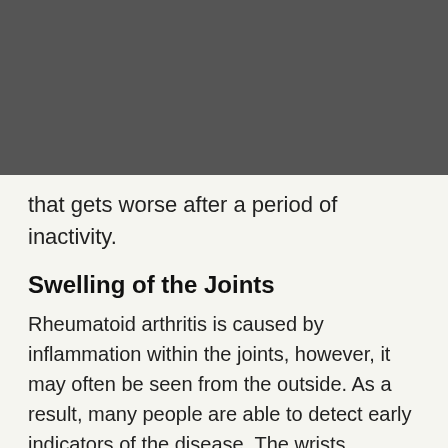VAPE AND PODS
that gets worse after a period of inactivity.
Swelling of the Joints
Rheumatoid arthritis is caused by inflammation within the joints, however, it may often be seen from the outside. As a result, many people are able to detect early indicators of the disease. The wrists, ankles, and fingers are the areas where swelling is most noticeable.
Redness of the Joints